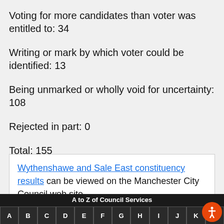Voting for more candidates than voter was entitled to:  34
Writing or mark by which voter could be identified: 13
Being unmarked or wholly void for uncertainty:  108
Rejected in part:  0
Total:  155
Wythenshawe and Sale East constituency results can be viewed on the Manchester City Council web site.
We use cookies to provide the best possible service on our website. By continuing to browse the site you are agreeing to our use of cookies. Read our cookies policy
A to Z of Council Services
Got it!